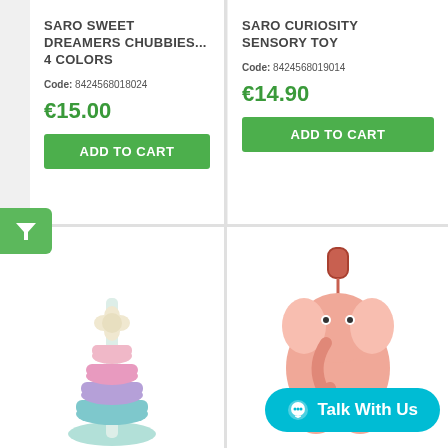SARO SWEET DREAMERS CHUBBIES... 4 COLORS
Code: 8424568018024
€15.00
ADD TO CART
SARO CURIOSITY SENSORY TOY
Code: 8424568019014
€14.90
ADD TO CART
[Figure (photo): Colorful stacking toy with rings in pastel colors (pink, purple, blue) on a white stem]
[Figure (photo): Pink elephant plush sensory toy hanging from an orange clip/ring]
Talk With Us